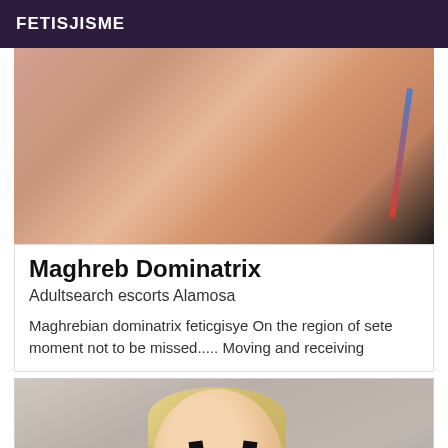FETISJISME
[Figure (photo): Close-up photo with dark background]
Maghreb Dominatrix
Adultsearch escorts Alamosa
Maghrebian dominatrix feticgisye On the region of sete moment not to be missed..... Moving and receiving
[Figure (photo): Blonde woman smiling wearing black outfit]